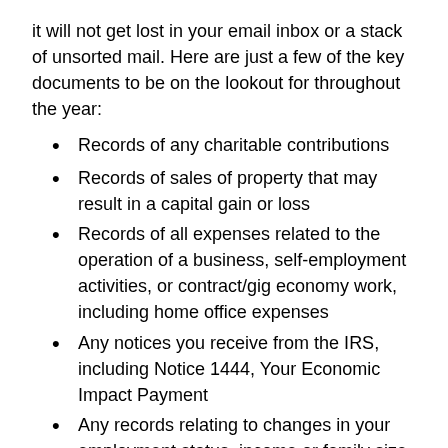it will not get lost in your email inbox or a stack of unsorted mail. Here are just a few of the key documents to be on the lookout for throughout the year:
Records of any charitable contributions
Records of sales of property that may result in a capital gain or loss
Records of all expenses related to the operation of a business, self-employment activities, or contract/gig economy work, including home office expenses
Any notices you receive from the IRS, including Notice 1444, Your Economic Impact Payment
Any records relating to changes in your employment status, income or family size
Records of educational expenses for yourself or your dependents, which may qualify for tax deductions or credits
Records of other dependent care expenses
Records of healthcare expenses, including insurance